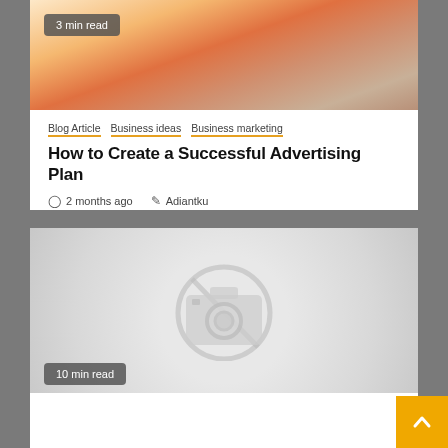[Figure (photo): Blurred warm-toned photo of a laptop/desk workspace with orange accents]
3 min read
Blog Article  Business ideas  Business marketing
How to Create a Successful Advertising Plan
2 months ago  Adiantku
[Figure (photo): Placeholder image with a no-image camera icon on a grey background]
10 min read